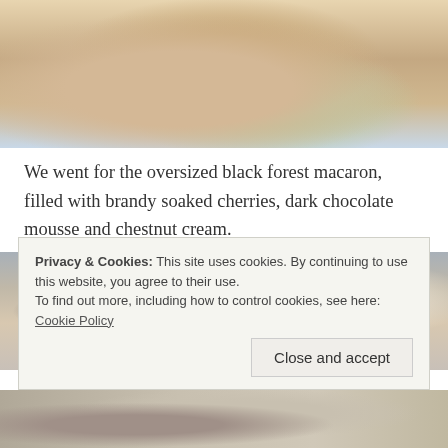[Figure (photo): A hand holding an oversized black forest macaron with layered sandwich cookies, with colorful items in the background]
We went for the oversized black forest macaron, filled with brandy soaked cherries, dark chocolate mousse and chestnut cream.
[Figure (photo): Person giving thumbs up wearing a white t-shirt with a logo, holding what appears to be a coffee cup or similar item]
Privacy & Cookies: This site uses cookies. By continuing to use this website, you agree to their use.
To find out more, including how to control cookies, see here: Cookie Policy
Close and accept
[Figure (photo): Partial view of another food photograph at the bottom of the page]